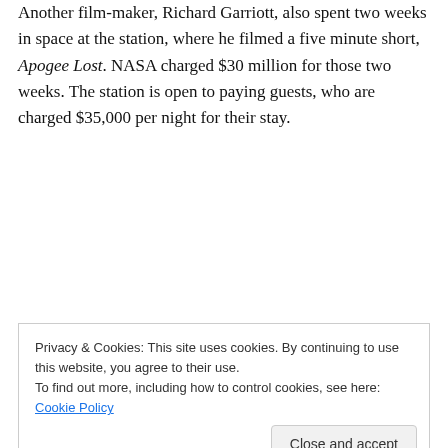Another film-maker, Richard Garriott, also spent two weeks in space at the station, where he filmed a five minute short, Apogee Lost. NASA charged $30 million for those two weeks. The station is open to paying guests, who are charged $35,000 per night for their stay.
[Figure (other): Advertisement banner: 'Build a better web and a better world.' with an Apply button and a photo of a person thinking]
Privacy & Cookies: This site uses cookies. By continuing to use this website, you agree to their use.
To find out more, including how to control cookies, see here: Cookie Policy
Close and accept